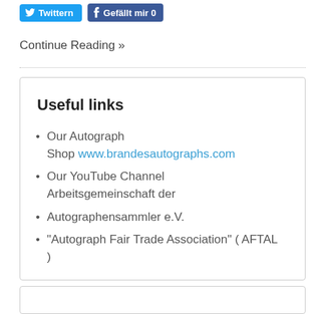[Figure (screenshot): Social sharing buttons: Twitter (Twittern) and Facebook (Gefällt mir 0)]
Continue Reading »
Useful links
Our Autograph Shop www.brandesautographs.com
Our YouTube Channel Arbeitsgemeinschaft der
Autographensammler e.V.
"Autograph Fair Trade Association" ( AFTAL )